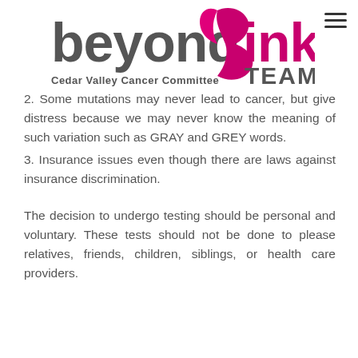[Figure (logo): Beyond Pink Team logo with Cedar Valley Cancer Committee text]
2. Some mutations may never lead to cancer, but give distress because we may never know the meaning of such variation such as GRAY and GREY words.
3. Insurance issues even though there are laws against insurance discrimination.
The decision to undergo testing should be personal and voluntary. These tests should not be done to please relatives, friends, children, siblings, or health care providers.